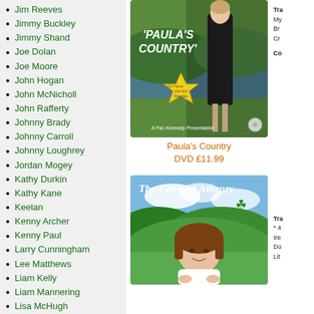Jim Reeves
Jimmy Buckley
Jimmy Shand
Joe Dolan
Joe Moore
John Hogan
John McNicholl
John Rafferty
Johnny Brady
Johnny Carroll
Johnny Loughrey
Jordan Mogey
Kathy Durkin
Kathy Kane
Keelan
Kenny Archer
Kenny Paul
Larry Cunningham
Lee Matthews
Liam Kelly
Liam Mannering
Lisa McHugh
Louise Morrissey
Manson Grant
Margo O'Donnell
Mary Duff
Matt Leavy
Matthew O'Donnell
[Figure (photo): Paula's Country DVD album cover showing a woman in a black dress standing outdoors by a lake with text 'Paula's Country' and a star shape]
Paula's Country
DVD £11.99
[Figure (photo): The Fields of Athenry album cover showing a woman with brown hair smiling in front of green hills and blue sky]
Tra
My
Br
Cr
Co
Tra
* 4
Ire
Do
Lit